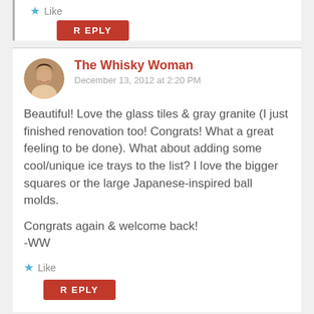Like
REPLY
The Whisky Woman
December 13, 2012 at 2:20 PM
Beautiful! Love the glass tiles & gray granite (I just finished renovation too! Congrats! What a great feeling to be done). What about adding some cool/unique ice trays to the list? I love the bigger squares or the large Japanese-inspired ball molds.

Congrats again & welcome back!
-WW
Like
REPLY